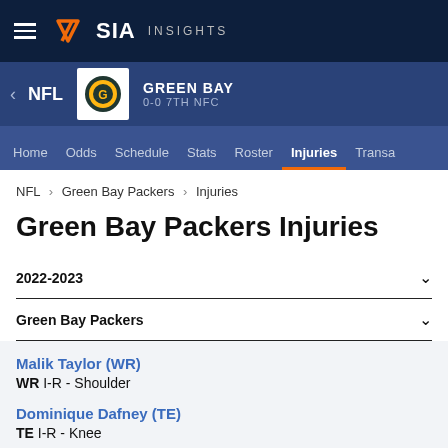SIA INSIGHTS
NFL  GREEN BAY  0-0 7TH NFC
Home  Odds  Schedule  Stats  Roster  Injuries  Transa
NFL > Green Bay Packers > Injuries
Green Bay Packers Injuries
2022-2023
Green Bay Packers
Malik Taylor (WR)
WR  I-R - Shoulder
Dominique Dafney (TE)
TE  I-R - Knee